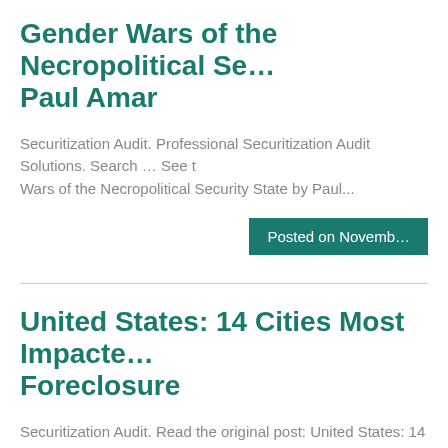Gender Wars of the Necropolitical Security State by Paul Amar
Securitization Audit. Professional Securitization Audit Solutions. Search … See the Gender Wars of the Necropolitical Security State by Paul...
Posted on Novemb…
United States: 14 Cities Most Impacted by Foreclosure
Securitization Audit. Read the original post: United States: 14 Cities Most Impac…
Posted on Novemb…